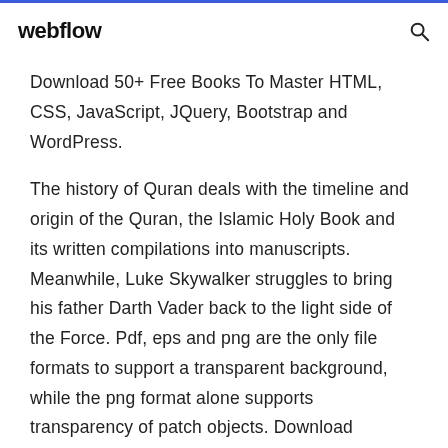webflow
Download 50+ Free Books To Master HTML, CSS, JavaScript, JQuery, Bootstrap and WordPress.
The history of Quran deals with the timeline and origin of the Quran, the Islamic Holy Book and its written compilations into manuscripts. Meanwhile, Luke Skywalker struggles to bring his father Darth Vader back to the light side of the Force. Pdf, eps and png are the only file formats to support a transparent background, while the png format alone supports transparency of patch objects. Download PHProxy for free. None Some of these are